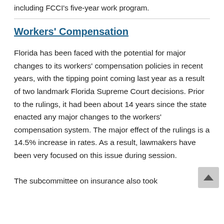including FCCI’s five-year work program.
Workers’ Compensation
Florida has been faced with the potential for major changes to its workers’ compensation policies in recent years, with the tipping point coming last year as a result of two landmark Florida Supreme Court decisions. Prior to the rulings, it had been about 14 years since the state enacted any major changes to the workers’ compensation system. The major effect of the rulings is a 14.5% increase in rates. As a result, lawmakers have been very focused on this issue during session.
The subcommittee on insurance also took...